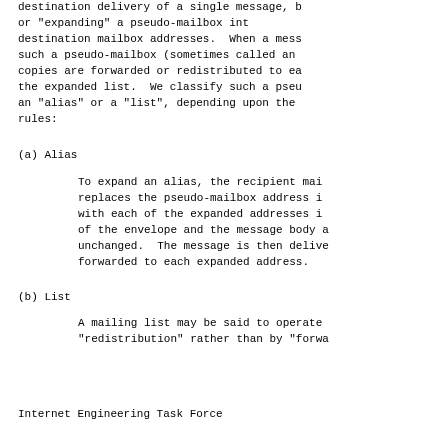destination delivery of a single message, b
or "expanding" a pseudo-mailbox int
destination mailbox addresses.  When a mess
such a pseudo-mailbox (sometimes called an
copies are forwarded or redistributed to ea
the expanded list.  We classify such a pseu
an "alias" or a "list", depending upon the
rules:
(a)   Alias
To expand an alias, the recipient mai
replaces the pseudo-mailbox address i
with each of the expanded addresses i
of the envelope and the message body a
unchanged.  The message is then delive
forwarded to each expanded address.
(b)   List
A mailing list may be said to operate
"redistribution" rather than by "forwa
Internet Engineering Task Force